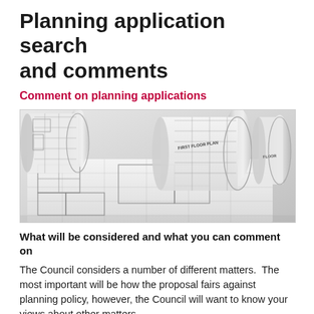Planning application search and comments
Comment on planning applications
[Figure (photo): Rolled and flat architectural blueprint drawings showing floor plans]
What will be considered and what you can comment on
The Council considers a number of different matters.  The most important will be how the proposal fairs against planning policy, however, the Council will want to know your views about other matters.
The most significant include, and are known as material considerations:
The Development Plan (The Core Strategy, Local Plans,